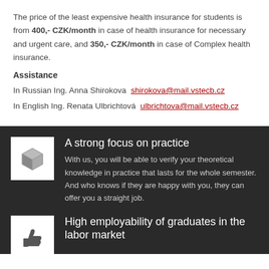The price of the least expensive health insurance for students is from 400,- CZK/month in case of health insurance for necessary and urgent care, and 350,- CZK/month in case of Complex health insurance.
Assistance
In Russian Ing. Anna Shirokova shirokova@mail.vstecb.cz
In English Ing. Renata Ulbrichtová ulbrichtova@mail.vstecb.cz
[Figure (illustration): 3D cube icon on white background]
A strong focus on practice
With us, you will be able to verify your theoretical knowledge in practice that lasts for the whole semester. And who knows if they are happy with you, they can offer you a straight job.
[Figure (illustration): Thumbs up icon on white background]
High employability of graduates in the labor market